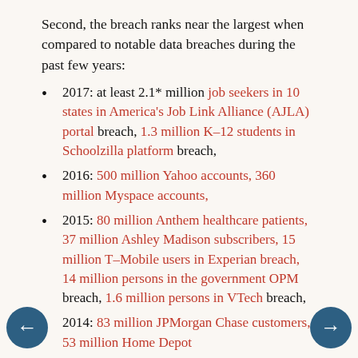Second, the breach ranks near the largest when compared to notable data breaches during the past few years:
2017: at least 2.1* million job seekers in 10 states in America's Job Link Alliance (AJLA) portal breach, 1.3 million K–12 students in Schoolzilla platform breach,
2016: 500 million Yahoo accounts, 360 million Myspace accounts,
2015: 80 million Anthem healthcare patients, 37 million Ashley Madison subscribers, 15 million T–Mobile users in Experian breach, 14 million persons in the government OPM breach, 1.6 million persons in VTech breach,
2014: 83 million JPMorgan Chase customers, 53 million Home Depot